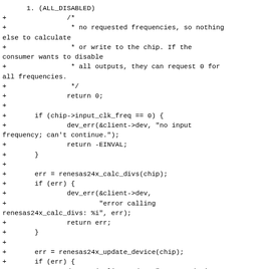Code diff showing additions to a C source file involving frequency/chip handling logic